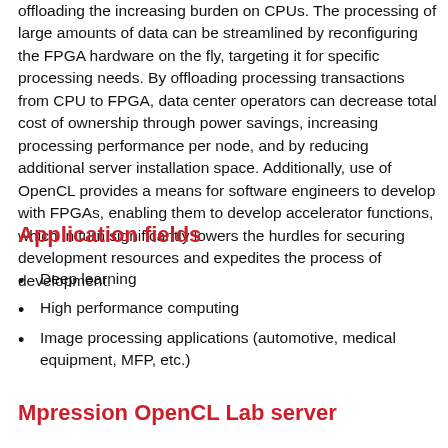offloading the increasing burden on CPUs. The processing of large amounts of data can be streamlined by reconfiguring the FPGA hardware on the fly, targeting it for specific processing needs. By offloading processing transactions from CPU to FPGA, data center operators can decrease total cost of ownership through power savings, increasing processing performance per node, and by reducing additional server installation space. Additionally, use of OpenCL provides a means for software engineers to develop with FPGAs, enabling them to develop accelerator functions, which in turn significantly lowers the hurdles for securing development resources and expedites the process of development.
Application fields
Deep learning
High performance computing
Image processing applications (automotive, medical equipment, MFP, etc.)
Mpression OpenCL Lab server